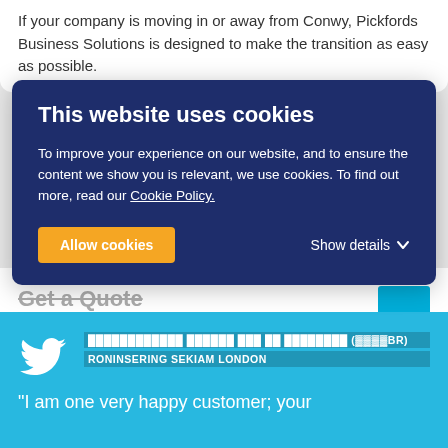If your company is moving in or away from Conwy, Pickfords Business Solutions is designed to make the transition as easy as possible.
This website uses cookies
To improve your experience on our website, and to ensure the content we show you is relevant, we use cookies. To find out more, read our Cookie Policy.
Allow cookies  Show details
Get a Quote
[Figure (screenshot): Twitter widget showing a user handle and location text, partially obscured, with twitter bird logo on a cyan background]
"I am one very happy customer; your staff..."